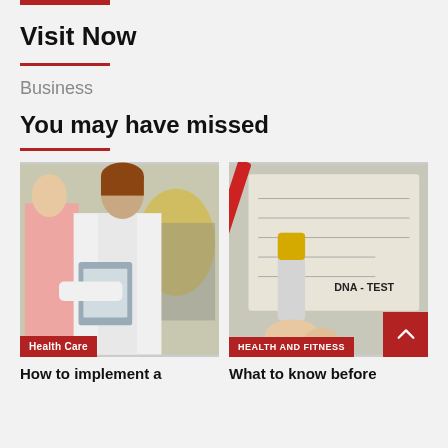Visit Now
Business
You may have missed
[Figure (photo): Doctor in white lab coat with clipboard consulting a patient in a gym/fitness setting]
Health Care
How to implement a
[Figure (photo): Blood sample tube labeled DNA - TEST held over a medical form/document]
HEALTH AND FITNESS
What to know before